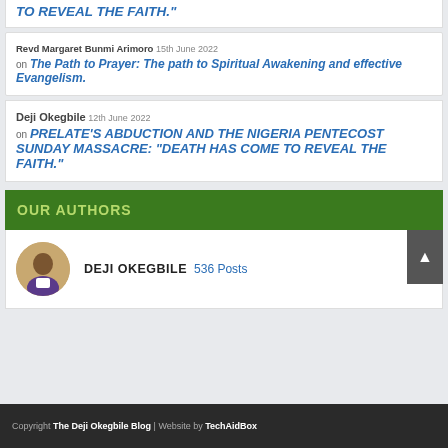TO REVEAL THE FAITH.
Revd Margaret Bunmi Arimoro 15th June 2022 on The Path to Prayer: The path to Spiritual Awakening and effective Evangelism.
Deji Okegbile 12th June 2022 on PRELATE'S ABDUCTION AND THE NIGERIA PENTECOST SUNDAY MASSACRE: "DEATH HAS COME TO REVEAL THE FAITH."
OUR AUTHORS
DEJI OKEGBILE 536 Posts
Copyright The Deji Okegbile Blog | Website by TechAidBox